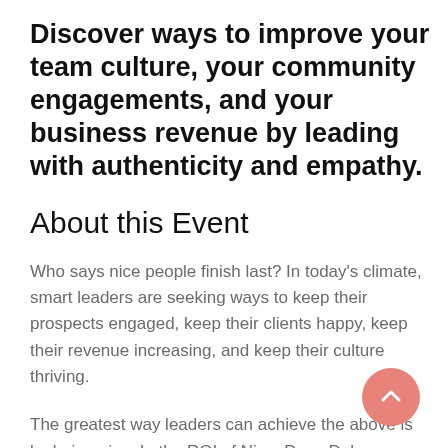Discover ways to improve your team culture, your community engagements, and your business revenue by leading with authenticity and empathy.
About this Event
Who says nice people finish last? In today's climate, smart leaders are seeking ways to keep their prospects engaged, keep their clients happy, keep their revenue increasing, and keep their culture thriving.
The greatest way leaders can achieve the above is by being nice. In the ROI of Nice, Dave Delaney shares stories, tools, and techniques that will transform your leadership skills during this unpredictable time. Be successful. Be